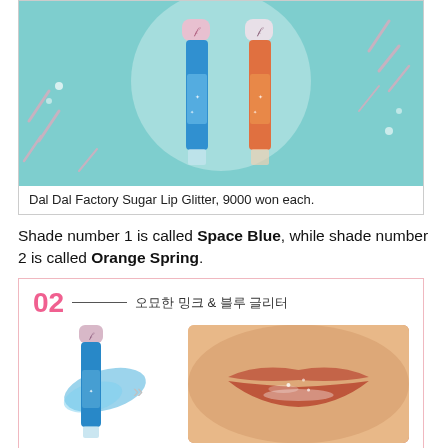[Figure (photo): Two lip glitter products from Dal Dal Factory - one blue and one orange/red - displayed against a mint/teal background with diagonal stripe accents and a white circle element]
Dal Dal Factory Sugar Lip Glitter, 9000 won each.
Shade number 1 is called Space Blue, while shade number 2 is called Orange Spring.
[Figure (photo): Product detail card showing shade 02 with Korean text '오묘한 밍크 & 블루 글리터', the blue lip glitter tube with swatch, arrow pointing to a closeup of lips wearing the product. Korean label '1호 스페이스 블루 로즈'. Below is a partial view of another shade with a hand holding the product and a lip closeup.]